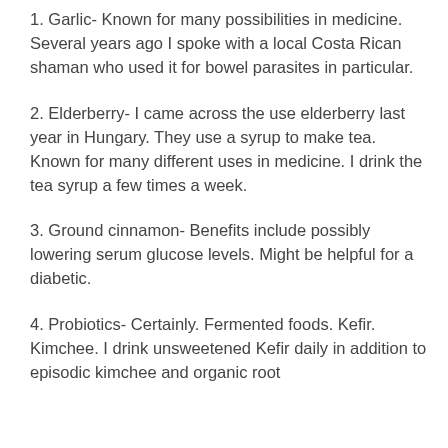1. Garlic- Known for many possibilities in medicine. Several years ago I spoke with a local Costa Rican shaman who used it for bowel parasites in particular.
2. Elderberry- I came across the use elderberry last year in Hungary. They use a syrup to make tea. Known for many different uses in medicine. I drink the tea syrup a few times a week.
3. Ground cinnamon- Benefits include possibly lowering serum glucose levels. Might be helpful for a diabetic.
4. Probiotics- Certainly. Fermented foods. Kefir. Kimchee. I drink unsweetened Kefir daily in addition to episodic kimchee and organic root